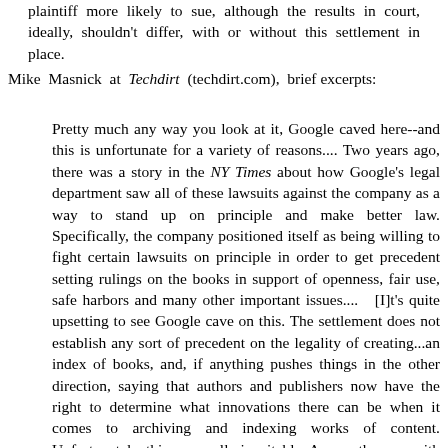plaintiff more likely to sue, although the results in court, ideally, shouldn't differ, with or without this settlement in place.
Mike Masnick at Techdirt (techdirt.com), brief excerpts:
Pretty much any way you look at it, Google caved here--and this is unfortunate for a variety of reasons.... Two years ago, there was a story in the NY Times about how Google's legal department saw all of these lawsuits against the company as a way to stand up on principle and make better law. Specifically, the company positioned itself as being willing to fight certain lawsuits on principle in order to get precedent setting rulings on the books in support of openness, fair use, safe harbors and many other important issues....  [I]t's quite upsetting to see Google cave on this. The settlement does not establish any sort of precedent on the legality of creating...an index of books, and, if anything pushes things in the other direction, saying that authors and publishers now have the right to determine what innovations there can be when it comes to archiving and indexing works of content. Unfortunately, this was really inevitable. As was the case with Google caving on YouTube and the Associated Press, it becomes a situation where Google realizes it can throw a